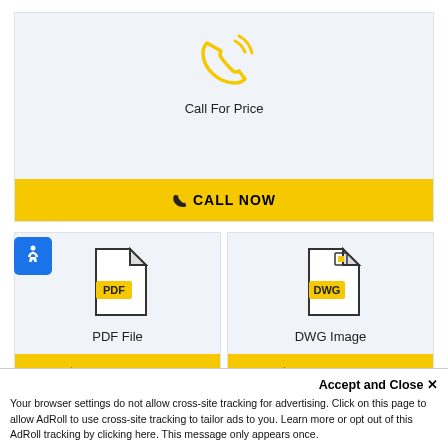[Figure (infographic): Phone/call icon in yellow with signal waves, centered in a light gray box]
Call For Price
CALL NOW
[Figure (infographic): PDF file icon with yellow PDF label badge]
PDF File
DOWNLOAD
[Figure (infographic): DWG file icon with yellow DWG label badge]
DWG Image
DOWNLOAD
[Figure (infographic): Accessibility icon - white wheelchair figure on blue rounded square]
Accept and Close ✕
Your browser settings do not allow cross-site tracking for advertising. Click on this page to allow AdRoll to use cross-site tracking to tailor ads to you. Learn more or opt out of this AdRoll tracking by clicking here. This message only appears once.